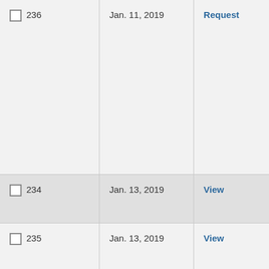| ID | Date | Action |
| --- | --- | --- |
| 236 | Jan. 11, 2019 | Request |
| 234 | Jan. 13, 2019 | View |
| 235 | Jan. 13, 2019 | View |
| 237 | Jan. 14, 2019 | Request |